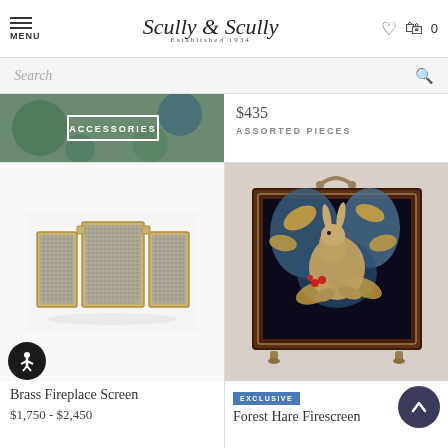Scully & Scully — Established 1934
Search
[Figure (photo): Accessories banner strip with teal/blue decorative background and ACCESSORIES label in bordered white text]
$435
ASSORTED PIECES
[Figure (photo): Brass three-panel folding fireplace screen with gold frame on white background]
Brass Fireplace Screen
$1,750 - $2,450
[Figure (photo): Forest Hare Firescreen — tapestry artwork with hare amid foliage, in dark mahogany wood frame with brass feet, EXCLUSIVE badge]
Forest Hare Firescreen